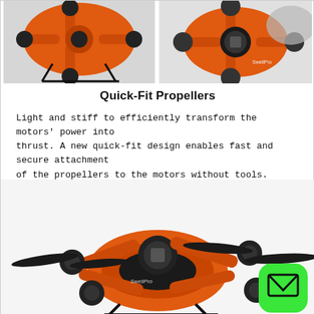[Figure (photo): Top banner showing two close-up photos of an orange drone: left image shows the front/bottom with landing gear on dark surface; right image shows top-down view of the drone body and motor mount on gray background.]
Quick-Fit Propellers
Light and stiff to efficiently transform the motors' power into thrust. A new quick-fit design enables fast and secure attachment of the propellers to the motors without tools.
[Figure (photo): Large photo of an orange and black quadcopter drone with four black propellers attached to motors, shown from a slightly elevated front angle against a white background. A green rounded-square button with an envelope/email icon appears in the lower right corner.]